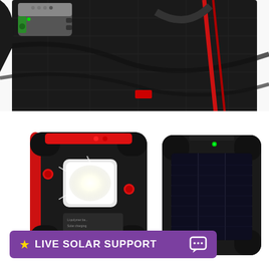[Figure (photo): Close-up photo of a black tactical/hiking backpack with a green and grey solar charger/power bank clipped or attached to the top exterior pocket. The backpack has red accent straps and nylon webbing.]
[Figure (photo): Product photo showing two solar power banks on a white background. Left unit is black and red with a bright LED flashlight on the front face, showing LED indicator lights and product text. Right unit shows the solar panel side of a black rugged solar charger with a green LED indicator on top.]
★ LIVE SOLAR SUPPORT